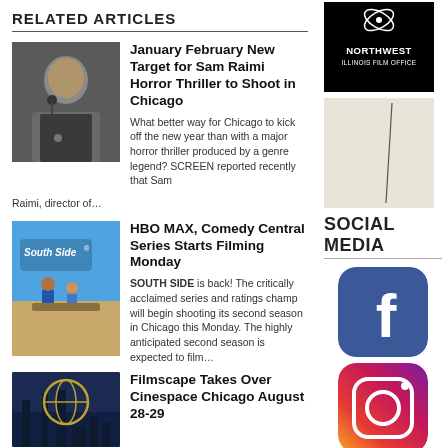RELATED ARTICLES
[Figure (photo): Headshot of Sam Raimi at microphone]
January February New Target for Sam Raimi Horror Thriller to Shoot in Chicago
What better way for Chicago to kick off the new year than with a major horror thriller produced by a genre legend? SCREEN reported recently that Sam Raimi, director of…
[Figure (photo): South Side show promotional image with blue sky and characters]
HBO MAX, Comedy Central Series Starts Filming Monday
SOUTH SIDE is back! The critically acclaimed series and ratings champ will begin shooting its second season in Chicago this Monday. The highly anticipated second season is expected to film…
[Figure (photo): Filmscape / Cinespace Chicago logo with city skyline]
Filmscape Takes Over Cinespace Chicago August 28-29
[Figure (logo): Northwest Illinois Film Office logo on black background]
[Figure (photo): Abstract art image, beige background with thin diagonal line]
SOCIAL MEDIA
[Figure (logo): Facebook logo icon, blue rounded square with white f]
[Figure (logo): Instagram logo icon, gradient rounded square with camera]
[Figure (logo): Twitter logo icon, light blue rounded square with white bird]